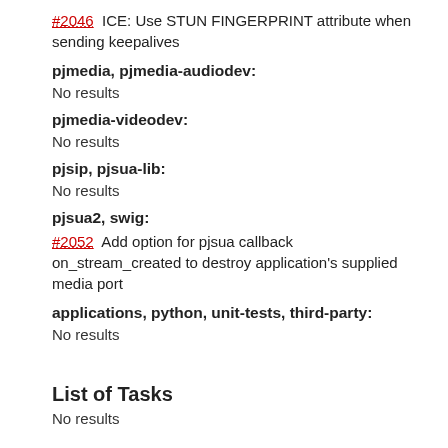#2046  ICE: Use STUN FINGERPRINT attribute when sending keepalives
pjmedia, pjmedia-audiodev:
No results
pjmedia-videodev:
No results
pjsip, pjsua-lib:
No results
pjsua2, swig:
#2052  Add option for pjsua callback on_stream_created to destroy application's supplied media port
applications, python, unit-tests, third-party:
No results
List of Tasks
No results